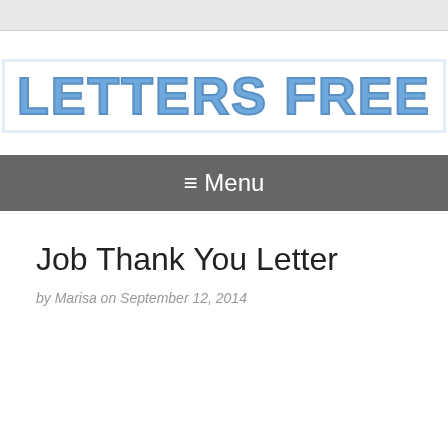[Figure (logo): LETTERS FREE logo in large bold blue uppercase text with border styling]
≡ Menu
Job Thank You Letter
by Marisa on September 12, 2014